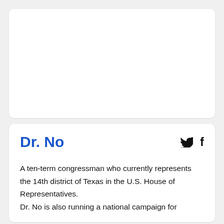[Figure (other): White card placeholder area at the top, empty white rectangle with rounded corners]
Dr. No
A ten-term congressman who currently represents the 14th district of Texas in the U.S. House of Representatives.
Dr. No is also running a national campaign for